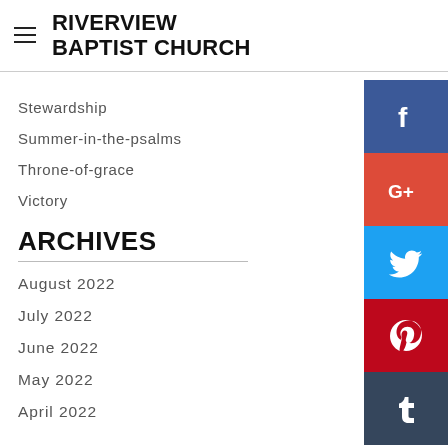RIVERVIEW BAPTIST CHURCH
Stewardship
Summer-in-the-psalms
Throne-of-grace
Victory
ARCHIVES
August 2022
July 2022
June 2022
May 2022
April 2022
[Figure (infographic): Social media icon buttons: Facebook (dark blue), Google+ (red), Twitter (light blue), Pinterest (dark red), Tumblr (dark navy)]